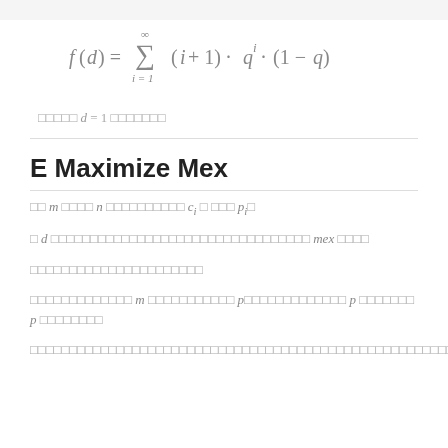□□□□□ d = 1 □□□□□□□
E Maximize Mex
□□ m □□□□ n □□□□□□□□□□ c_i □ □□□ p_i □
□ d □□□□□□□□□□□□□□□□□□□□□□□□□□□□□□□ mex □□□□
□□□□□□□□□□□□□□□□□□□□□
□□□□□□□□□□□□□ m □□□□□□□□□□□ p□□□□□□□□□□□□□ p □□□□□□□ p □□□□□□□□
□□□□□□□□□□□□□□□□□□□□□□□□□□□□□□□□□□□□□□□□□□□□□□□□□□□□□□